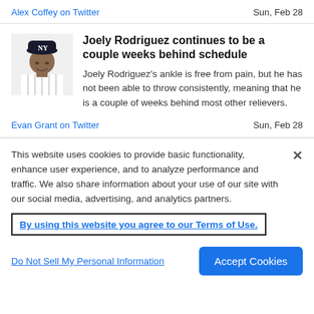Alex Coffey on Twitter   Sun, Feb 28
Joely Rodriguez continues to be a couple weeks behind schedule
Joely Rodriguez's ankle is free from pain, but he has not been able to throw consistently, meaning that he is a couple of weeks behind most other relievers.
Evan Grant on Twitter   Sun, Feb 28
This website uses cookies to provide basic functionality, enhance user experience, and to analyze performance and traffic. We also share information about your use of our site with our social media, advertising, and analytics partners.
By using this website you agree to our Terms of Use.
Do Not Sell My Personal Information
Accept Cookies